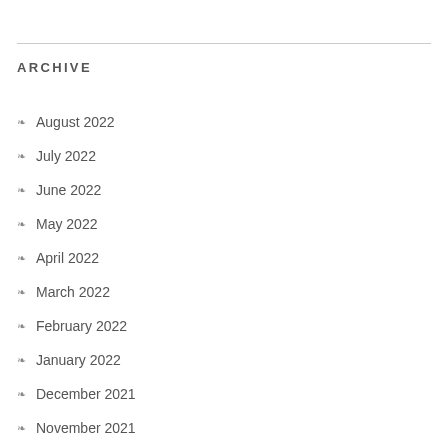ARCHIVE
August 2022
July 2022
June 2022
May 2022
April 2022
March 2022
February 2022
January 2022
December 2021
November 2021
October 2021